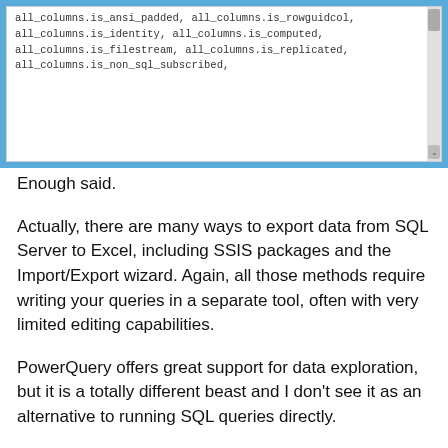[Figure (screenshot): Screenshot showing SQL code with column names: all_columns.is_ansi_padded, all_columns.is_rowguidcol, all_columns.is_identity, all_columns.is_computed, all_columns.is_filestream, all_columns.is_replicated, all_columns.is_non_sql_subscribed]
Enough said.
Actually, there are many ways to export data from SQL Server to Excel, including SSIS packages and the Import/Export wizard. Again, all those methods require writing your queries in a separate tool, often with very limited editing capabilities.
PowerQuery offers great support for data exploration, but it is a totally different beast and I don’t see it as an alternative to running SQL queries directly.
The solution